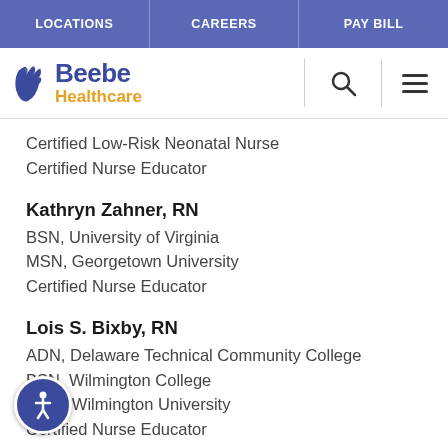LOCATIONS | CAREERS | PAY BILL
[Figure (logo): Beebe Healthcare logo with blue and gold text and hands icon]
Certified Low-Risk Neonatal Nurse
Certified Nurse Educator
Kathryn Zahner, RN
BSN, University of Virginia
MSN, Georgetown University
Certified Nurse Educator
Lois S. Bixby, RN
ADN, Delaware Technical Community College
BSN, Wilmington College
MSN, Wilmington University
Certified Nurse Educator